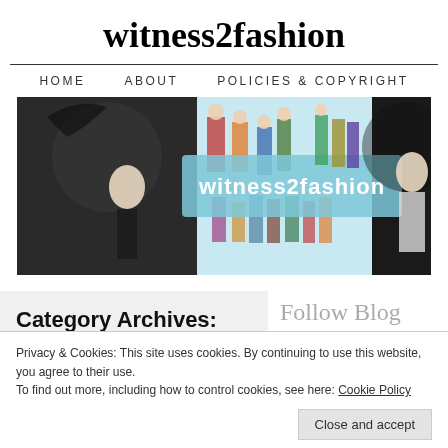witness2fashion
HOME   ABOUT   POLICIES & COPYRIGHT
[Figure (illustration): Banner image for witness2fashion blog showing vintage fashion illustrations and photos, with 'witness2fashion' text overlay on a light blue background.]
Category Archives:
Follow Blog via Email
Enter your email address
Privacy & Cookies: This site uses cookies. By continuing to use this website, you agree to their use.
To find out more, including how to control cookies, see here: Cookie Policy
Close and accept